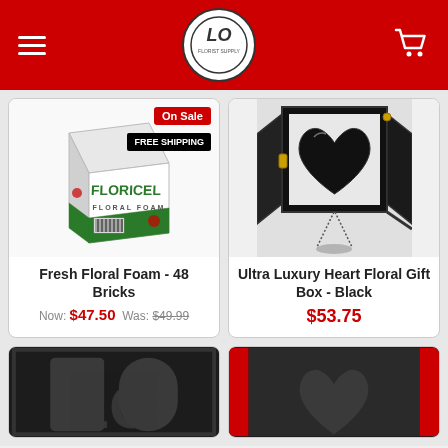LO Florist Supply - navigation header with logo, hamburger menu, and cart
[Figure (photo): Product photo of Floricel Fresh Floral Foam box - 48 bricks, white box with green branding. Badges: On Sale (red), FREE SHIPPING (black)]
Fresh Floral Foam - 48 Bricks
Now: $47.50  Was: $49.99
[Figure (photo): Product photo of Ultra Luxury Heart Floral Gift Box in Black - open black frame box with heart-shaped window]
Ultra Luxury Heart Floral Gift Box - Black
$53.75
[Figure (photo): Bottom-left product card showing partial image of dark frame box with letters LO]
[Figure (photo): Bottom-right product card showing partial image of dark frame box with red interior and heart shape]